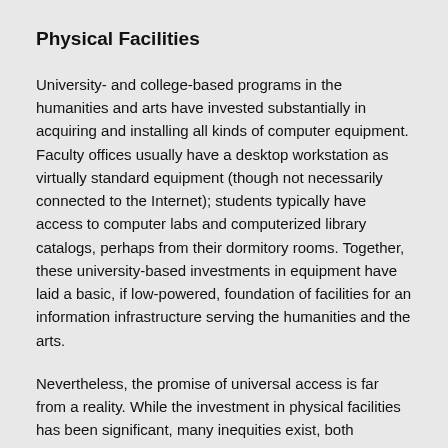Physical Facilities
University- and college-based programs in the humanities and arts have invested substantially in acquiring and installing all kinds of computer equipment. Faculty offices usually have a desktop workstation as virtually standard equipment (though not necessarily connected to the Internet); students typically have access to computer labs and computerized library catalogs, perhaps from their dormitory rooms. Together, these university-based investments in equipment have laid a basic, if low-powered, foundation of facilities for an information infrastructure serving the humanities and the arts.
Nevertheless, the promise of universal access is far from a reality. While the investment in physical facilities has been significant, many inequities exist, both between campuses and within any given campus.